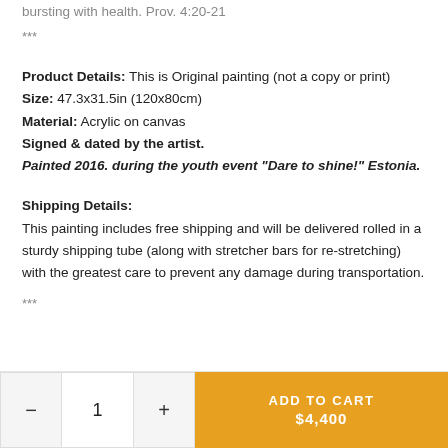bursting with health. Prov. 4:20-21
***
Product Details: This is Original painting (not a copy or print)
Size: 47.3x31.5in (120x80cm)
Material: Acrylic on canvas
Signed & dated by the artist.
Painted 2016. during the youth event "Dare to shine!" Estonia.
Shipping Details:
This painting includes free shipping and will be delivered rolled in a sturdy shipping tube (along with stretcher bars for re-stretching) with the greatest care to prevent any damage during transportation.
***
ADD TO CART $4,400